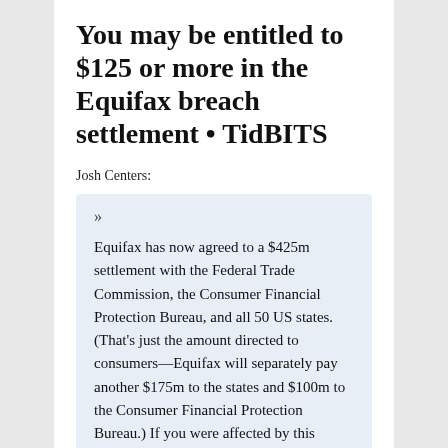You may be entitled to $125 or more in the Equifax breach settlement • TidBITS
Josh Centers:
» Equifax has now agreed to a $425m settlement with the Federal Trade Commission, the Consumer Financial Protection Bureau, and all 50 US states. (That's just the amount directed to consumers—Equifax will separately pay another $175m to the states and $100m to the Consumer Financial Protection Bureau.) If you were affected by this breach—and chances are that you were—you're entitled to either up to 10 years of credit monitoring or a $125 cash payment.